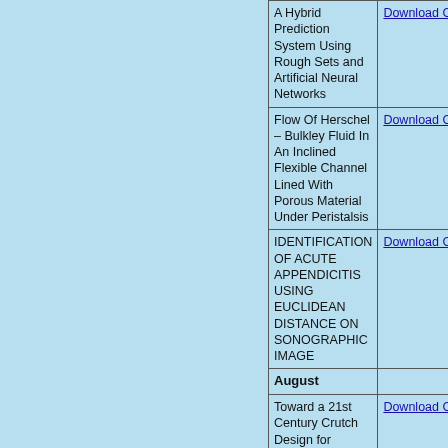| Article Title | Download |
| --- | --- |
| A Hybrid Prediction System Using Rough Sets and Artificial Neural Networks | Download Complete Article |
| Flow Of Herschel – Bulkley Fluid In An Inclined Flexible Channel Lined With Porous Material Under Peristalsis | Download Complete Article |
| IDENTIFICATION OF ACUTE APPENDICITIS USING EUCLIDEAN DISTANCE ON SONOGRAPHIC IMAGE | Download Complete Article |
| August |  |
| Toward a 21st Century Crutch Design for Assisting Natural Gait | Download Complete Article |
| An Efficient Approach for Discovering Impact Factor of E-Books using EigenFactor and UCINET | Download Complete Article |
| Optimization of ... | Download Complete Article |